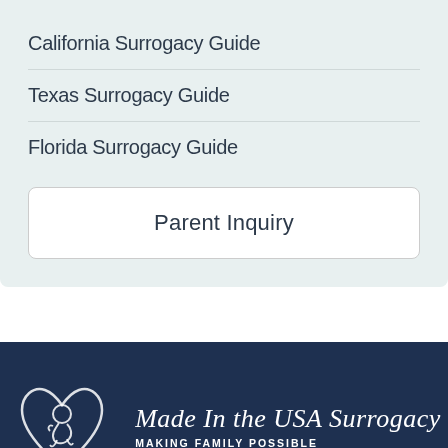California Surrogacy Guide
Texas Surrogacy Guide
Florida Surrogacy Guide
Parent Inquiry
[Figure (logo): Made In the USA Surrogacy logo: white outline of a baby inside a heart shape, script text 'Made In the USA Surrogacy', tagline 'MAKING FAMILY POSSIBLE' on dark navy background]